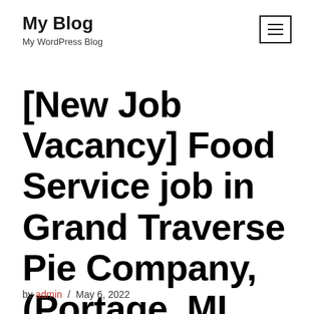My Blog
My WordPress Blog
[New Job Vacancy] Food Service job in Grand Traverse Pie Company, (Portage, MI 49002) – Jobs in Portage, MI 49002
by admin / May 6, 2022